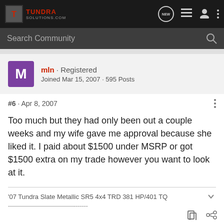TUNDRA SOLUTIONS.COM
Search Community
mln · Registered
Joined Mar 15, 2007 · 595 Posts
#6 · Apr 8, 2007
Too much but they had only been out a couple weeks and my wife gave me approval because she liked it. I paid about $1500 under MSRP or got $1500 extra on my trade however you want to look at it.
'07 Tundra Slate Metallic SR5 4x4 TRD 381 HP/401 TQ
----------------------------------------